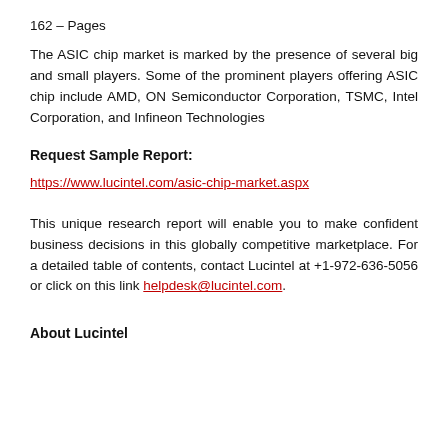162 – Pages
The ASIC chip market is marked by the presence of several big and small players. Some of the prominent players offering ASIC chip include AMD, ON Semiconductor Corporation, TSMC, Intel Corporation, and Infineon Technologies
Request Sample Report:
https://www.lucintel.com/asic-chip-market.aspx
This unique research report will enable you to make confident business decisions in this globally competitive marketplace. For a detailed table of contents, contact Lucintel at +1-972-636-5056 or click on this link helpdesk@lucintel.com.
About Lucintel